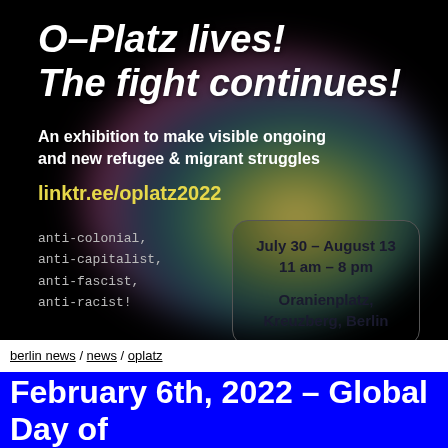[Figure (infographic): Event poster on black background with colorful gradient blob. Bold italic white text reads 'O-Platz lives! The fight continues!' Subtitle: 'An exhibition to make visible ongoing and new refugee & migrant struggles'. Yellow link: 'linktr.ee/oplatz2022'. Anti-colonial, anti-capitalist, anti-fascist, anti-racist listed in grey monospace. Event box: 'July 30 – August 13 / 11 am – 8 pm / Oranienplatz, Kreuzberg, Berlin'.]
berlin news / news / oplatz
February 6th, 2022 – Global Day of Struggle against the regime of